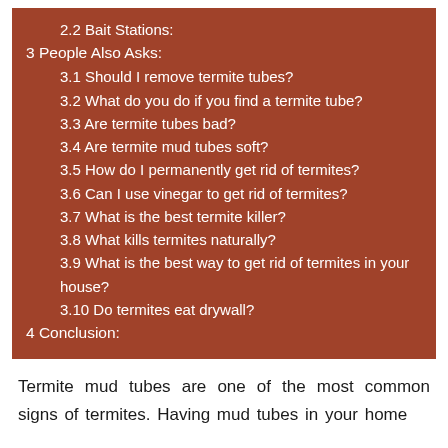2.2 Bait Stations:
3 People Also Asks:
3.1 Should I remove termite tubes?
3.2 What do you do if you find a termite tube?
3.3 Are termite tubes bad?
3.4 Are termite mud tubes soft?
3.5 How do I permanently get rid of termites?
3.6 Can I use vinegar to get rid of termites?
3.7 What is the best termite killer?
3.8 What kills termites naturally?
3.9 What is the best way to get rid of termites in your house?
3.10 Do termites eat drywall?
4 Conclusion:
Termite mud tubes are one of the most common signs of termites. Having mud tubes in your home